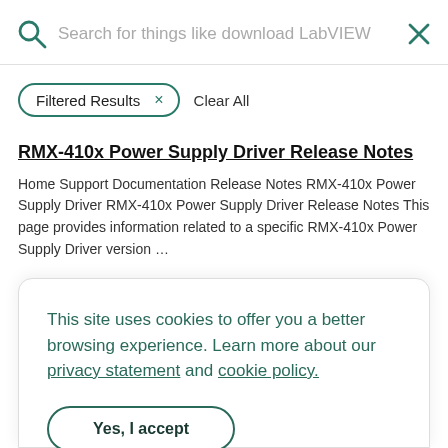Search for things like download LabVIEW
Filtered Results  ×   Clear All
RMX-410x Power Supply Driver Release Notes
Home Support Documentation Release Notes RMX-410x Power Supply Driver RMX-410x Power Supply Driver Release Notes This page provides information related to a specific RMX-410x Power Supply Driver version …
This site uses cookies to offer you a better browsing experience. Learn more about our privacy statement and cookie policy.
Yes, I accept